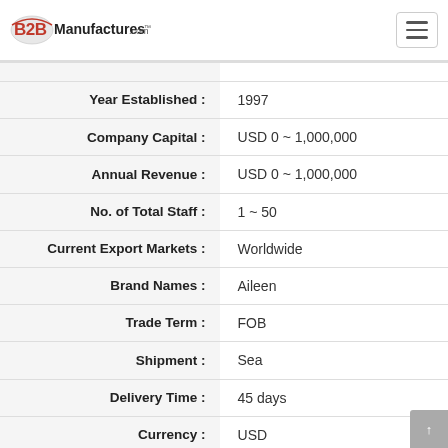B2BManufactures.com
| Field | Value |
| --- | --- |
| Year Established : | 1997 |
| Company Capital : | USD 0 ~ 1,000,000 |
| Annual Revenue : | USD 0 ~ 1,000,000 |
| No. of Total Staff : | 1 ~ 50 |
| Current Export Markets : | Worldwide |
| Brand Names : | Aileen |
| Trade Term : | FOB |
| Shipment : | Sea |
| Delivery Time : | 45 days |
| Currency : | USD |
| Payment Term : |  |